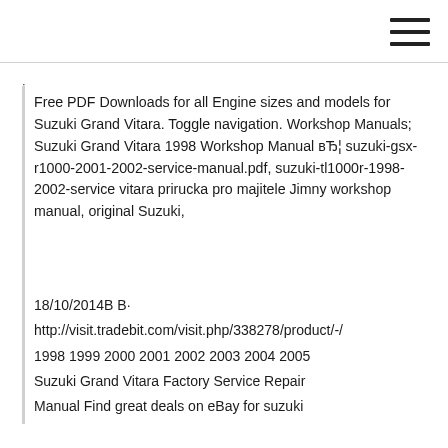[Figure (other): Hamburger menu icon (three horizontal lines) in top-right corner]
Free PDF Downloads for all Engine sizes and models for Suzuki Grand Vitara. Toggle navigation. Workshop Manuals; Suzuki Grand Vitara 1998 Workshop Manual вЂ¦ suzuki-gsx-r1000-2001-2002-service-manual.pdf, suzuki-tl1000r-1998-2002-service vitara prirucka pro majitele Jimny workshop manual, original Suzuki,
18/10/2014В В·
http://visit.tradebit.com/visit.php/338278/product/-/
1998 1999 2000 2001 2002 2003 2004 2005
Suzuki Grand Vitara Factory Service Repair
Manual Find great deals on eBay for suzuki